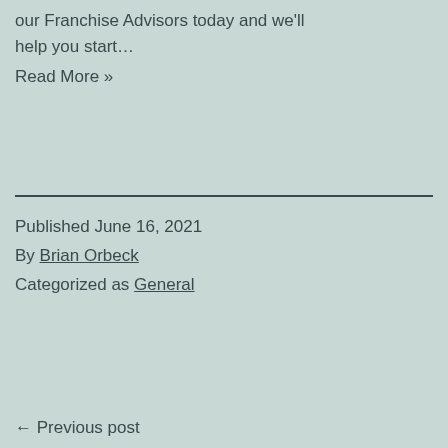our Franchise Advisors today and we'll help you start…
Read More »
Published June 16, 2021
By Brian Orbeck
Categorized as General
← Previous post